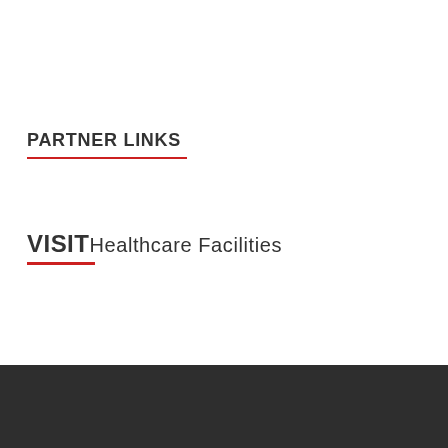PARTNER LINKS
VISIT Healthcare Facilities
Copyright © 2022 homethai.net.
Powered by WordPress and HitMag.